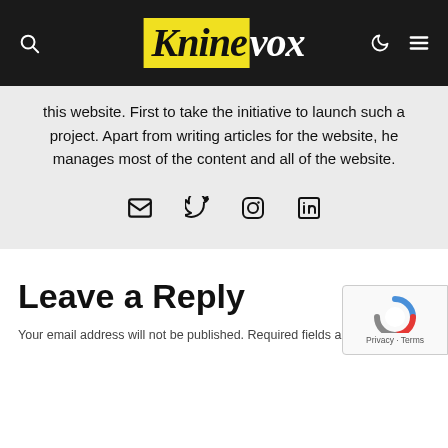Kninevox — website header with logo, search, moon/dark-mode, and menu icons
this website. First to take the initiative to launch such a project. Apart from writing articles for the website, he manages most of the content and all of the website.
[Figure (infographic): Social media icons: email, Twitter/X, Instagram, LinkedIn]
Leave a Reply
Your email address will not be published. Required fields are marked *